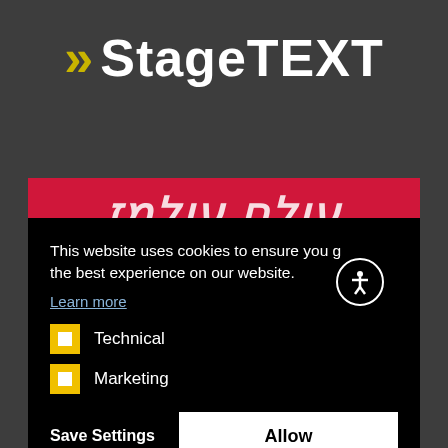[Figure (logo): StageTEXT logo with yellow double-arrow chevrons followed by white bold text 'StageTEXT' on dark grey background]
[Figure (screenshot): Red banner with white italic bold text showing partial foreign-script/stylized letters]
This website uses cookies to ensure you g the best experience on our website.
Learn more
Technical
Marketing
Save Settings
Allow